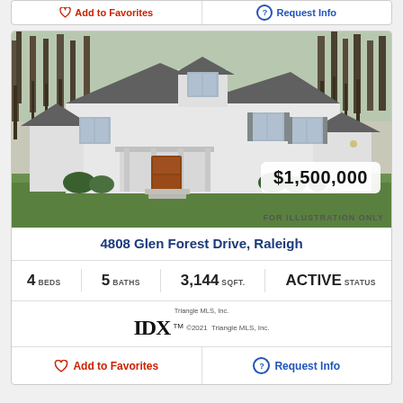[Figure (photo): Exterior photo of a white farmhouse-style home at 4808 Glen Forest Drive, Raleigh, with price badge showing $1,500,000 and FOR ILLUSTRATION ONLY watermark]
4808 Glen Forest Drive, Raleigh
4 BEDS   5 BATHS   3,144 SQFT.   ACTIVE STATUS
[Figure (logo): Triangle MLS, Inc. IDX logo with copyright 2021 Triangle MLS, Inc.]
Add to Favorites
Request Info